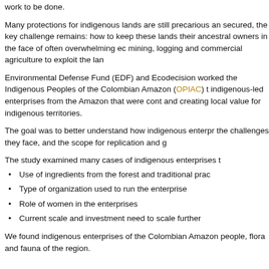work to be done.
Many protections for indigenous lands are still precarious and secured, the key challenge remains: how to keep these lands their ancestral owners in the face of often overwhelming eco mining, logging and commercial agriculture to exploit the land
Environmental Defense Fund (EDF) and Ecodecision worked the Indigenous Peoples of the Colombian Amazon (OPIAC) t indigenous-led enterprises from the Amazon that were cont and creating local value for indigenous territories.
The goal was to better understand how indigenous enterpr the challenges they face, and the scope for replication and g
The study examined many cases of indigenous enterprises t
Use of ingredients from the forest and traditional prac
Type of organization used to run the enterprise
Role of women in the enterprises
Current scale and investment need to scale further
We found indigenous enterprises of the Colombian Amazon people, flora and fauna of the region.